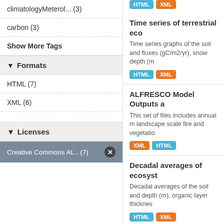climatologyMeterol... (3)
carbon (3)
Show More Tags
Formats
HTML (7)
XML (6)
Licenses
Creative Commons At... (7)
Time series of terrestrial eco
Time series graphs of the soil and fluxes (gC/m2/yr), snow depth (m
HTML XML
ALFRESCO Model Outputs a
This set of files includes annual m landscape scale fire and vegetatio
XML HTML
Decadal averages of ecosyst
Decadal averages of the soil and depth (m), organic layer thicknes
HTML XML